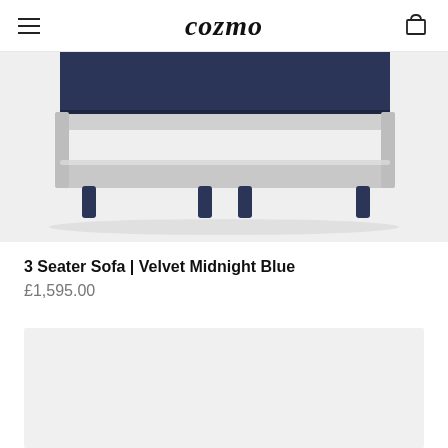cozmo
[Figure (photo): Bottom/underside view of a 3-seater sofa with dark navy blue velvet upholstery and dark legs, shown against a light grey background]
3 Seater Sofa | Velvet Midnight Blue
£1,595.00
[Figure (photo): Second product image placeholder area (light grey, partially visible)]